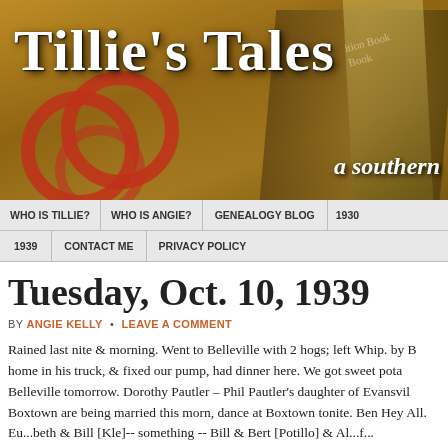[Figure (photo): Tillie's Tales blog header banner showing vintage books and composition notebooks with red circle design. Large white bold text reads 'Tillie's Tales' with italic subtitle 'a southern' visible.]
WHO IS TILLIE?  WHO IS ANGIE?  GENEALOGY BLOG  1930  1939  CONTACT ME  PRIVACY POLICY
Tuesday, Oct. 10, 1939
BY ANGIE KELLY • LEAVE A COMMENT
Rained last nite & morning. Went to Belleville with 2 hogs; left Whip. by B home in his truck, & fixed our pump, had dinner here. We got sweet pota Belleville tomorrow. Dorothy Pautler – Phil Pautler's daughter of Evansvil Boxtown are being married this morn, dance at Boxtown tonite. Ben Hey All. Eu...beth & Bill [Kle] -- something -- Bill & Bert [Potillo] & Al...f...